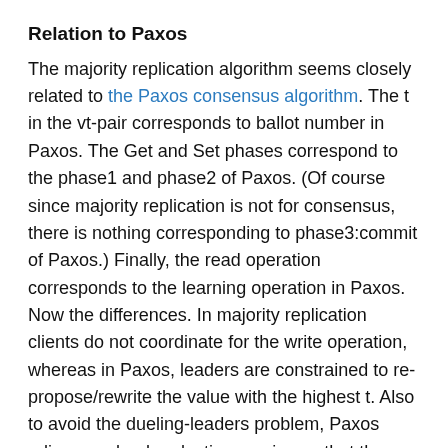Relation to Paxos
The majority replication algorithm seems closely related to the Paxos consensus algorithm. The t in the vt-pair corresponds to ballot number in Paxos. The Get and Set phases correspond to the phase1 and phase2 of Paxos. (Of course since majority replication is not for consensus, there is nothing corresponding to phase3:commit of Paxos.) Finally, the read operation corresponds to the learning operation in Paxos. Now the differences. In majority replication clients do not coordinate for the write operation, whereas in Paxos, leaders are constrained to re-propose/rewrite the value with the highest t. Also to avoid the dueling-leaders problem, Paxos relies on a leader election service so that the system eventually converges to one leader that can safely anchor/finalize a value as the decision value. (The leader election service is in P...